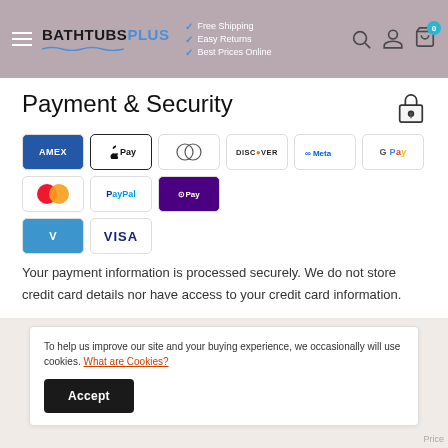BATHTUBSPLUS | Free Shipping | Easy Returns | Best Prices Online
Payment & Security
[Figure (other): Payment method logos: American Express, Apple Pay, Diners Club, Discover, Meta Pay, Google Pay, Mastercard, PayPal, Shop Pay, Venmo, Visa]
Your payment information is processed securely. We do not store credit card details nor have access to your credit card information.
To help us improve our site and your buying experience, we occasionally will use cookies. What are Cookies?